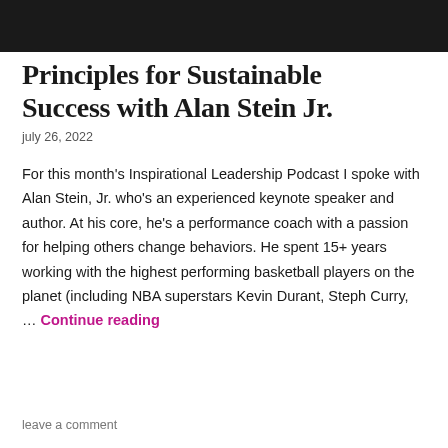[Figure (photo): Dark banner image at top of page]
Principles for Sustainable Success with Alan Stein Jr.
july 26, 2022
For this month's Inspirational Leadership Podcast I spoke with Alan Stein, Jr. who's an experienced keynote speaker and author. At his core, he's a performance coach with a passion for helping others change behaviors. He spent 15+ years working with the highest performing basketball players on the planet (including NBA superstars Kevin Durant, Steph Curry, … Continue reading
leave a comment